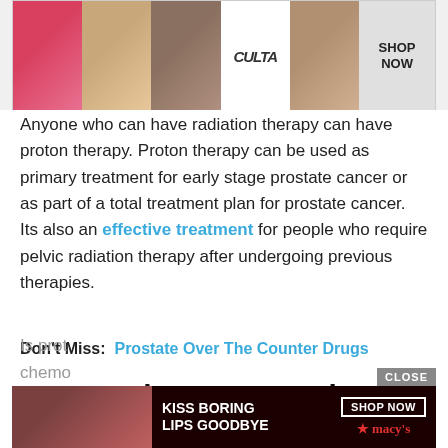[Figure (advertisement): Ulta Beauty advertisement banner with makeup imagery and 'SHOP NOW' button]
Anyone who can have radiation therapy can have proton therapy. Proton therapy can be used as primary treatment for early stage prostate cancer or as part of a total treatment plan for prostate cancer. Its also an effective treatment for people who require pelvic radiation therapy after undergoing previous therapies.
Don't Miss: Prostate Over The Counter Drugs
Proton Therapy Vs Other Prostate Cancer Treatments
[Figure (advertisement): Macy's advertisement with 'KISS BORING LIPS GOODBYE' and 'SHOP NOW' button, with a model showing red lipstick]